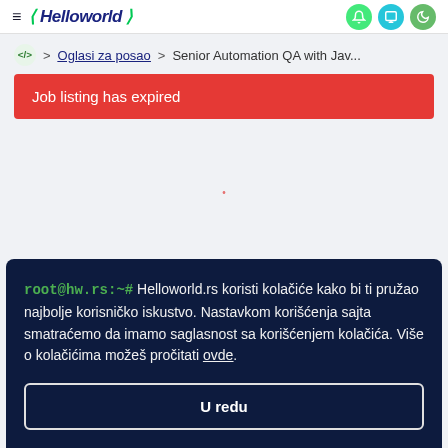Helloworld navigation bar with logo and icons
Oglasi za posao > Senior Automation QA with Jav...
Job listing has expired
root@hw.rs:~# Helloworld.rs koristi kolačiće kako bi ti pružao najbolje korisničko iskustvo. Nastavkom korišćenja sajta smatraćemo da imamo saglasnost sa korišćenjem kolačića. Više o kolačićima možeš pročitati ovde.
U redu